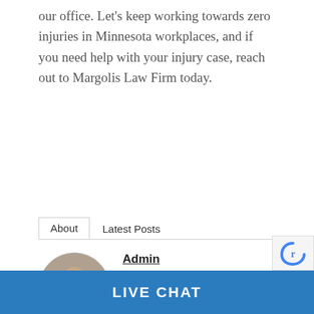our office. Let's keep working towards zero injuries in Minnesota workplaces, and if you need help with your injury case, reach out to Margolis Law Firm today.
About   Latest Posts
[Figure (photo): Circular profile photo of a man in a suit sitting at a desk with a computer monitor in background]
Admin
Owner at Margolis Law Firm
Dean Margolis has over 30 years of experience handling workers compensation and personal injury cases.
LIVE CHAT